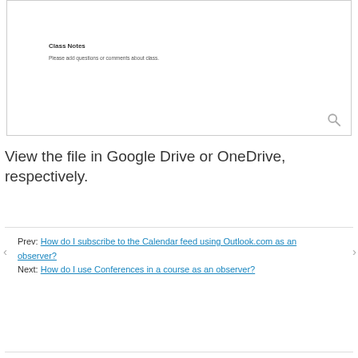[Figure (screenshot): Screenshot of a Class Notes widget with title 'Class Notes', subtitle 'Please add questions or comments about class.' and a search icon in the bottom right corner.]
View the file in Google Drive or OneDrive, respectively.
Prev: How do I subscribe to the Calendar feed using Outlook.com as an observer?
Next: How do I use Conferences in a course as an observer?